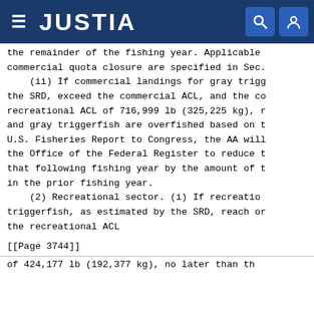JUSTIA
the remainder of the fishing year. Applicable commercial quota closure are specified in Sec.
    (ii) If commercial landings for gray trigg the SRD, exceed the commercial ACL, and the co recreational ACL of 716,999 lb (325,225 kg), r and gray triggerfish are overfished based on t U.S. Fisheries Report to Congress, the AA will the Office of the Federal Register to reduce t that following fishing year by the amount of t in the prior fishing year.
    (2) Recreational sector. (i) If recreatio triggerfish, as estimated by the SRD, reach or the recreational ACL
[[Page 3744]]
of 424,177 lb (192,377 kg), no later than th